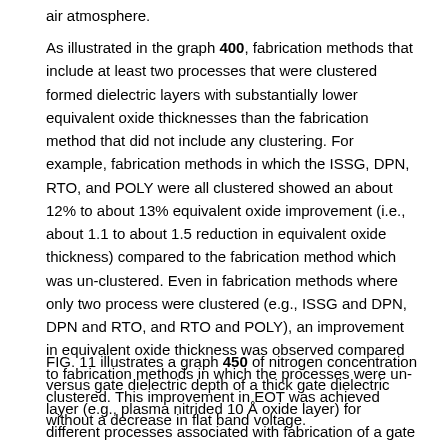air atmosphere.
As illustrated in the graph 400, fabrication methods that include at least two processes that were clustered formed dielectric layers with substantially lower equivalent oxide thicknesses than the fabrication method that did not include any clustering. For example, fabrication methods in which the ISSG, DPN, RTO, and POLY were all clustered showed an about 12% to about 13% equivalent oxide improvement (i.e., about 1.1 to about 1.5 reduction in equivalent oxide thickness) compared to the fabrication method which was un-clustered. Even in fabrication methods where only two process were clustered (e.g., ISSG and DPN, DPN and RTO, and RTO and POLY), an improvement in equivalent oxide thickness was observed compared to fabrication methods in which the processes were un-clustered. This improvement in EOT was achieved without a decrease in flat band voltage.
FIG. 11 illustrates a graph 450 of nitrogen concentration versus gate dielectric depth of a thick gate dielectric layer (e.g., plasma nitrided 10 Å oxide layer) for different processes associated with fabrication of a gate dielectric.